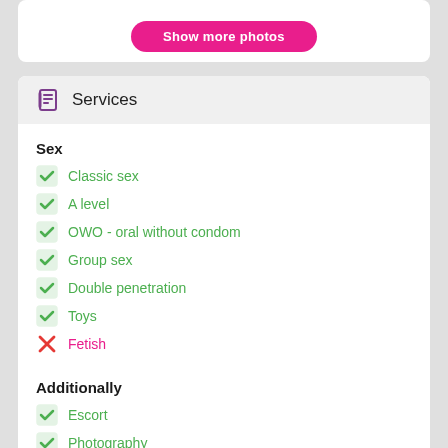[Figure (screenshot): Show more photos button (pink rounded rectangle)]
Services
Sex
Classic sex
A level
OWO - oral without condom
Group sex
Double penetration
Toys
Fetish
Additionally
Escort
Photography
There is a young man for a couple